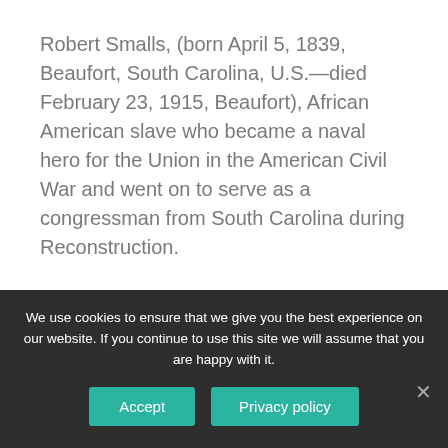Robert Smalls, (born April 5, 1839, Beaufort, South Carolina, U.S.—died February 23, 1915, Beaufort), African American slave who became a naval hero for the Union in the American Civil War and went on to serve as a congressman from South Carolina during Reconstruction.
What do the Black Irish look like?
Black Irish refers to a physical type including milk-white skin, often with freckles, blue eyes,
We use cookies to ensure that we give you the best experience on our website. If you continue to use this site we will assume that you are happy with it.